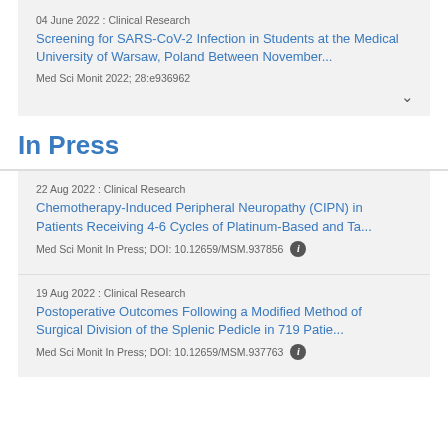04 June 2022 : Clinical Research
Screening for SARS-CoV-2 Infection in Students at the Medical University of Warsaw, Poland Between November...
Med Sci Monit 2022; 28:e936962
In Press
22 Aug 2022 : Clinical Research
Chemotherapy-Induced Peripheral Neuropathy (CIPN) in Patients Receiving 4-6 Cycles of Platinum-Based and Ta...
Med Sci Monit In Press; DOI: 10.12659/MSM.937856
19 Aug 2022 : Clinical Research
Postoperative Outcomes Following a Modified Method of Surgical Division of the Splenic Pedicle in 719 Patie...
Med Sci Monit In Press; DOI: 10.12659/MSM.937763